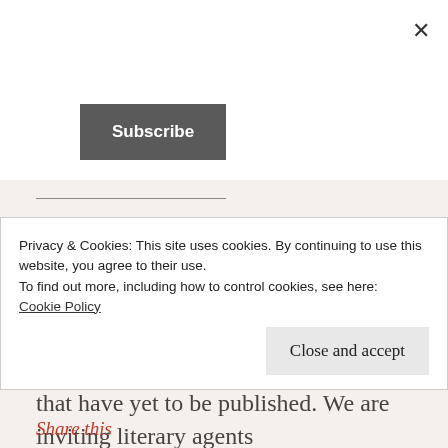×
Subscribe
Day 4 For too Long women writers have gone unnoticed. Writers who are women of color have not received the recognition and accolades we deserve. There are incredible writers and stories that have yet to be published. We are inviting literary agents
Privacy & Cookies: This site uses cookies. By continuing to use this website, you agree to their use.
To find out more, including how to control cookies, see here:
Cookie Policy
Close and accept
Share this